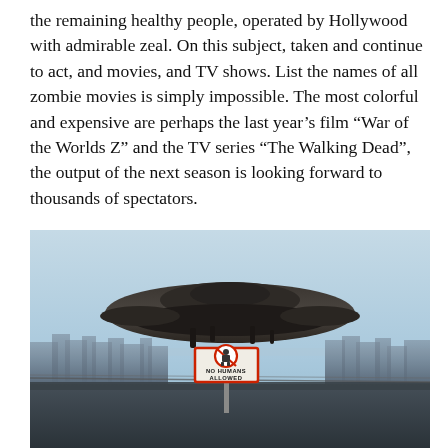the remaining healthy people, operated by Hollywood with admirable zeal. On this subject, taken and continue to act, and movies, and TV shows. List the names of all zombie movies is simply impossible. The most colorful and expensive are perhaps the last year's film "War of the Worlds Z" and the TV series "The Walking Dead", the output of the next season is looking forward to thousands of spectators.
[Figure (photo): Movie/sci-fi promotional image showing a large alien spaceship hovering over a dystopian cityscape, with a 'NO HUMANS ALLOWED' warning sign in the foreground and barbed wire fencing. The sky is pale blue-grey.]